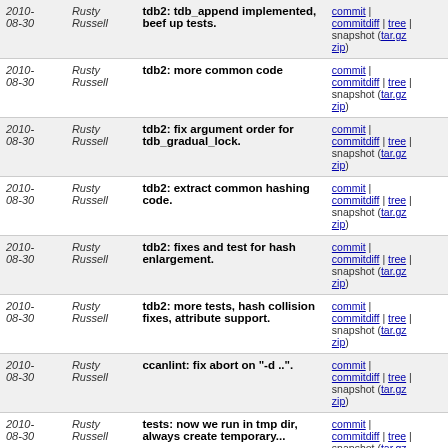| Date | Author | Message | Links |
| --- | --- | --- | --- |
| 2010-08-30 | Rusty Russell | tdb2: tdb_append implemented, beef up tests. | commit | commitdiff | tree | snapshot (tar.gz zip) |
| 2010-08-30 | Rusty Russell | tdb2: more common code | commit | commitdiff | tree | snapshot (tar.gz zip) |
| 2010-08-30 | Rusty Russell | tdb2: fix argument order for tdb_gradual_lock. | commit | commitdiff | tree | snapshot (tar.gz zip) |
| 2010-08-30 | Rusty Russell | tdb2: extract common hashing code. | commit | commitdiff | tree | snapshot (tar.gz zip) |
| 2010-08-30 | Rusty Russell | tdb2: fixes and test for hash enlargement. | commit | commitdiff | tree | snapshot (tar.gz zip) |
| 2010-08-30 | Rusty Russell | tdb2: more tests, hash collision fixes, attribute support. | commit | commitdiff | tree | snapshot (tar.gz zip) |
| 2010-08-30 | Rusty Russell | ccanlint: fix abort on "-d ..". | commit | commitdiff | tree | snapshot (tar.gz zip) |
| 2010-08-30 | Rusty Russell | tests: now we run in tmp dir, always create temporary... | commit | commitdiff | tree | snapshot (tar.gz zip) |
| 2010-08-30 | Rusty Russell | ccanlint: use up to three -v to mean more verbosity. | commit | commitdiff | tree | snapshot (tar.gz zip) |
| 2010-08-30 | Rusty Russell | tools: add build_verbose to show every command executed. | commit | commitdiff | tree | snapshot (tar.gz zip) |
| 2010- | Rusty | tdb: fix lock-tracking test code | commit | |